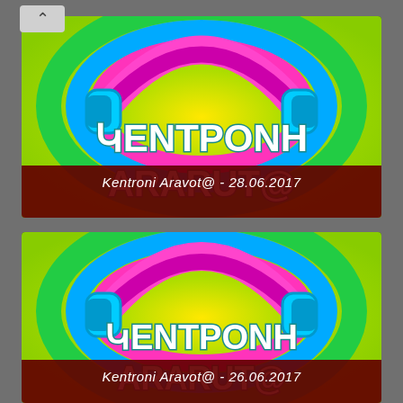[Figure (screenshot): Top thumbnail card: colorful Armenian TV show logo with rainbow headphones graphic and Armenian text (ԿԵՆTРՈNЬ ARARUT@), with dark red caption banner reading 'Kentroni Aravot@ - 28.06.2017']
Kentroni Aravot@ - 28.06.2017
[Figure (screenshot): Bottom thumbnail card: same colorful Armenian TV show logo with rainbow headphones graphic and Armenian text (ԿԵՆTРՈNЬ ARARUT@), with dark red caption banner reading 'Kentroni Aravot@ - 26.06.2017']
Kentroni Aravot@ - 26.06.2017